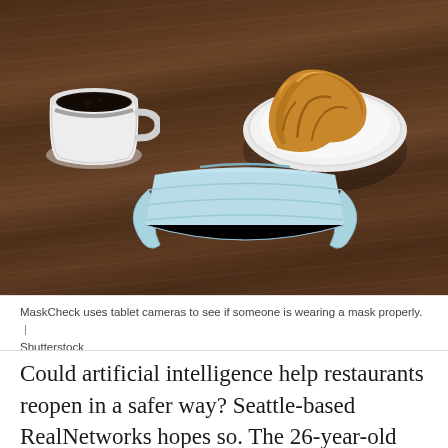[Figure (photo): Overhead view of a dark wood table with a white coffee cup filled with black coffee, a white plate with a golden croissant, and a light blue disposable face mask laid across the scene.]
MaskCheck uses tablet cameras to see if someone is wearing a mask properly.  |  Shutterstock
Could artificial intelligence help restaurants reopen in a safer way? Seattle-based RealNetworks hopes so. The 26-year-old tech company has recently launched an app called